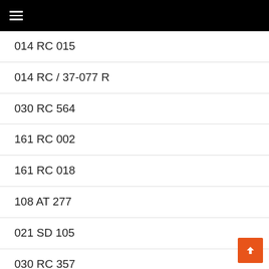☰
014 RC 015
014 RC / 37-077 R
030 RC 564
161 RC 002
161 RC 018
108 AT 277
021 SD 105
030 RC 357
030/14 AT 759